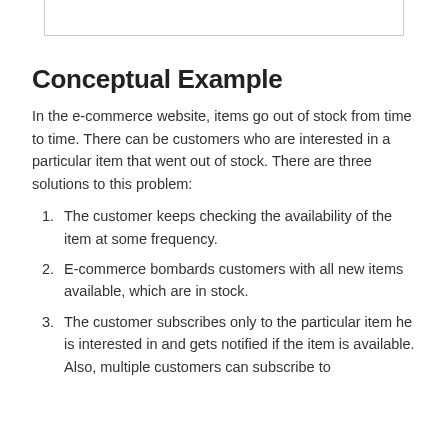[Figure (other): Partial top border of a box element visible at the top of the page]
Conceptual Example
In the e-commerce website, items go out of stock from time to time. There can be customers who are interested in a particular item that went out of stock. There are three solutions to this problem:
The customer keeps checking the availability of the item at some frequency.
E-commerce bombards customers with all new items available, which are in stock.
The customer subscribes only to the particular item he is interested in and gets notified if the item is available. Also, multiple customers can subscribe to